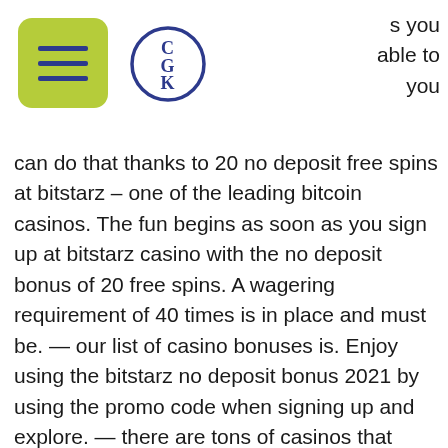[Figure (logo): Green rounded square button with three horizontal navy lines (hamburger menu icon) and a circular CGK monogram logo in navy and green]
s you able to you can do that thanks to 20 no deposit free spins at bitstarz – one of the leading bitcoin casinos. The fun begins as soon as you sign up at bitstarz casino with the no deposit bonus of 20 free spins. A wagering requirement of 40 times is in place and must be. — our list of casino bonuses is. Enjoy using the bitstarz no deposit bonus 2021 by using the promo code when signing up and explore. — there are tons of casinos that offer this free slots sport so do not waste any time in that area, no deposit bonus codes for bitstarz casino. 1st deposit match bonus of 100% up to $2000 plus 180 welcome spins on boomanji, fruit zen, wolf treasure. 2nd deposit match bonus of. A great start is important, that kind of goes without saying. On your first deposit we'll give you a 100%